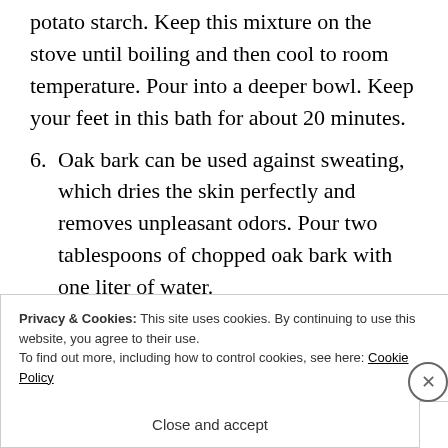liters of warm water and 2 tablespoons of potato starch. Keep this mixture on the stove until boiling and then cool to room temperature. Pour into a deeper bowl. Keep your feet in this bath for about 20 minutes.
6. Oak bark can be used against sweating, which dries the skin perfectly and removes unpleasant odors. Pour two tablespoons of chopped oak bark with one liter of water.
Privacy & Cookies: This site uses cookies. By continuing to use this website, you agree to their use. To find out more, including how to control cookies, see here: Cookie Policy
Close and accept